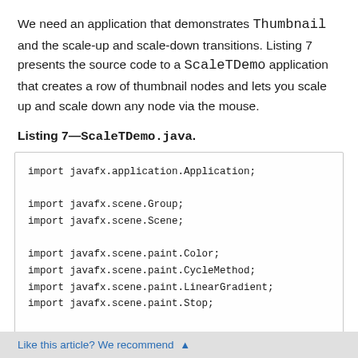We need an application that demonstrates Thumbnail and the scale-up and scale-down transitions. Listing 7 presents the source code to a ScaleTDemo application that creates a row of thumbnail nodes and lets you scale up and scale down any node via the mouse.
Listing 7—ScaleTDemo.java.
[Figure (screenshot): Code listing box showing Java import statements and beginning of ScaleTDemo class definition]
Like this article? We recommend